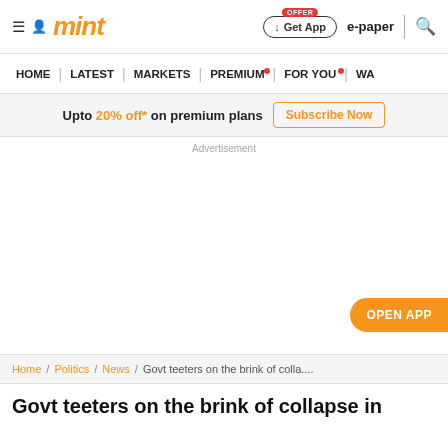mint — Get App | e-paper | search
HOME | LATEST | MARKETS | PREMIUM | FOR YOU | WA
Upto 20% off* on premium plans  Subscribe Now
Advertisement
OPEN APP
Home / Politics / News / Govt teeters on the brink of colla....
Govt teeters on the brink of collapse in